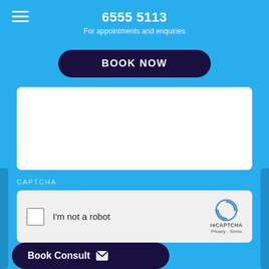6555 5113
For appointments and enquiries
BOOK NOW
[Figure (screenshot): White text input area box (empty textarea field)]
CAPTCHA
[Figure (other): reCAPTCHA widget with checkbox labeled 'I'm not a robot' and reCAPTCHA logo with Privacy and Terms links]
Book Consult